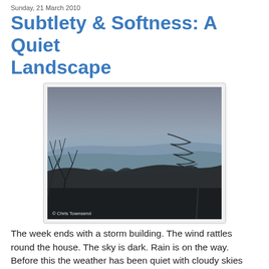Sunday, 21 March 2010
Subtlety & Softness: A Quiet Landscape
[Figure (photo): A dusky landscape photograph showing layered hills receding into a hazy blue-grey distance, with bare tree branches in the foreground left and a windswept pine tree on the right. The sky is overcast. A watermark reads '© Chris Townsend' in the lower left.]
The week ends with a storm building. The wind rattles round the house. The sky is dark. Rain is on the way. Before this the weather has been quiet with cloudy skies and gentle breezes. There has been little sunshine for days. And little rain. Just a soft grey light. Some might call it dull and certainly it lacks the bright immediacy of strong sunlight or the excitement of a big storm. But there is beauty in the softness. You just have to look closely. The hues of the